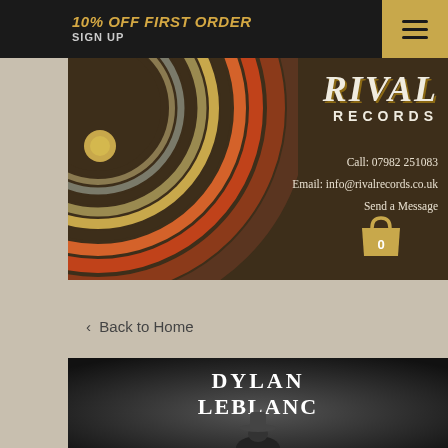10% OFF FIRST ORDER
SIGN UP
[Figure (screenshot): Rival Records website header with retro stripe logo, contact info, hamburger menu, and Dylan LeBlanc album product page beginning]
RIVAL RECORDS
Call: 07982 251083
Email: info@rivalrecords.co.uk
Send a Message
< Back to Home
[Figure (photo): Dylan LeBlanc album cover — dark background with text 'DYLAN LEBLANC' and partial image of figure in hat]